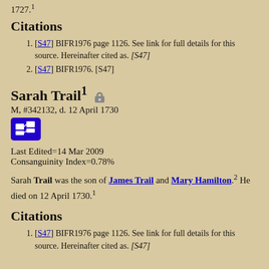1727.¹
Citations
[S47] BIFR1976 page 1126. See link for full details for this source. Hereinafter cited as. [S47]
[S47] BIFR1976. [S47]
Sarah Trail¹ 🔒
M, #342132, d. 12 April 1730
Last Edited=14 Mar 2009
Consanguinity Index=0.78%
Sarah Trail was the son of James Trail and Mary Hamilton.² He died on 12 April 1730.¹
Citations
[S47] BIFR1976 page 1126. See link for full details for this source. Hereinafter cited as. [S47]